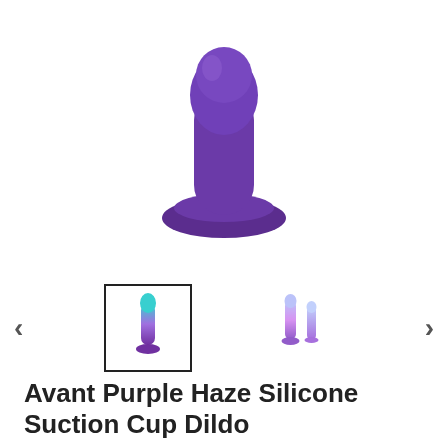[Figure (photo): Purple silicone suction cup dildo product photo shown from above against white background]
[Figure (photo): Thumbnail carousel with left and right navigation arrows. Selected thumbnail shows a rainbow/blue gradient silicone dildo. Two additional smaller thumbnails visible on the right.]
Avant Purple Haze Silicone Suction Cup Dildo
€40.00 (Sold out)
Tax included.